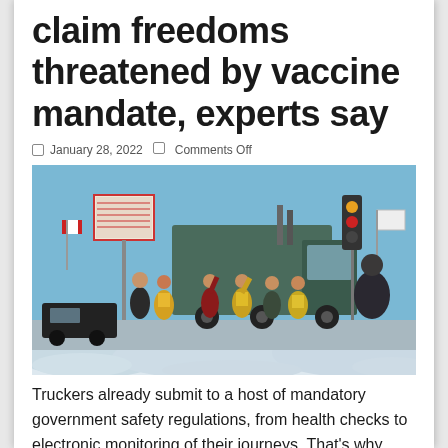claim freedoms threatened by vaccine mandate, experts say
January 28, 2022   Comments Off
[Figure (photo): Truckers convoy protest scene in winter — people standing alongside large truck on snowy road, some wearing high-visibility vests, signs visible in background, blue sky]
Truckers already submit to a host of mandatory government safety regulations, from health checks to electronic monitoring of their journeys. That's why some experts say it's insane for some drivers to claim their freedoms are now threatened by a COVID-19 vaccination added to that long list of job requirements. A cross-Canada convoy of truckers